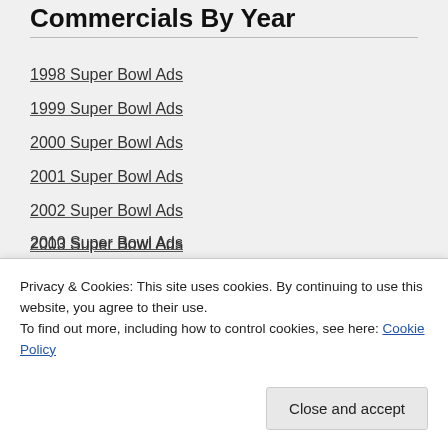Commercials By Year
1998 Super Bowl Ads
1999 Super Bowl Ads
2000 Super Bowl Ads
2001 Super Bowl Ads
2002 Super Bowl Ads
2003 Super Bowl Ads
2004 Super Bowl Ads
2005 Super Bowl Ads
Privacy & Cookies: This site uses cookies. By continuing to use this website, you agree to their use.
To find out more, including how to control cookies, see here: Cookie Policy
2010 Super Bowl Ads